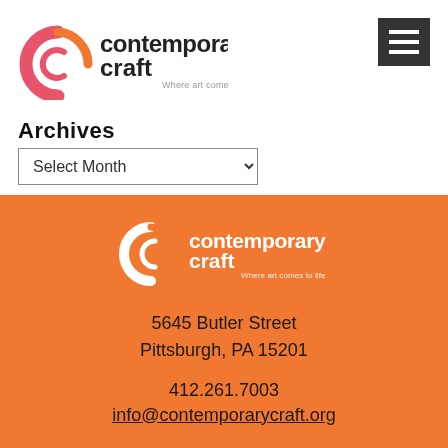[Figure (logo): Contemporary Craft logo - 'Where art comes to life' with stylized C icon in pink/orange]
[Figure (other): Hamburger menu icon - dark gray square with three white horizontal lines]
Archives
Select Month dropdown
[Figure (logo): Contemporary Craft white logo on orange background - 'Where art comes to life']
5645 Butler Street
Pittsburgh, PA 15201
412.261.7003
info@contemporarycraft.org